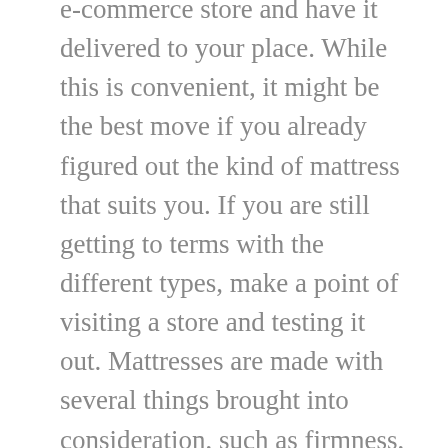e-commerce store and have it delivered to your place. While this is convenient, it might be the best move if you already figured out the kind of mattress that suits you. If you are still getting to terms with the different types, make a point of visiting a store and testing it out. Mattresses are made with several things brought into consideration, such as firmness, width, and temperature response. This way, you can find mattresses made with the same material feel differently. If the mattress you want is sold online, you can visit a store and test out a similar model and see if it fits your specifications before buying it.